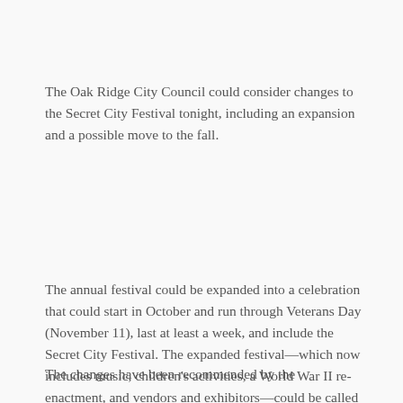The Oak Ridge City Council could consider changes to the Secret City Festival tonight, including an expansion and a possible move to the fall.
The annual festival could be expanded into a celebration that could start in October and run through Veterans Day (November 11), last at least a week, and include the Secret City Festival. The expanded festival—which now includes music, children's activities, a World War II re-enactment, and vendors and exhibitors—could be called the Secret City Celebration.
The changes have been recommended by the